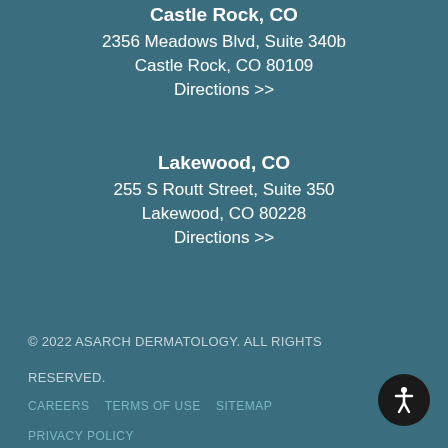Castle Rock, CO
2356 Meadows Blvd, Suite 340b
Castle Rock, CO 80109
Directions >>
Lakewood, CO
255 S Routt Street, Suite 350
Lakewood, CO 80228
Directions >>
© 2022 ASARCH DERMATOLOGY. ALL RIGHTS RESERVED.
CAREERS    TERMS OF USE    SITEMAP
PRIVACY POLICY